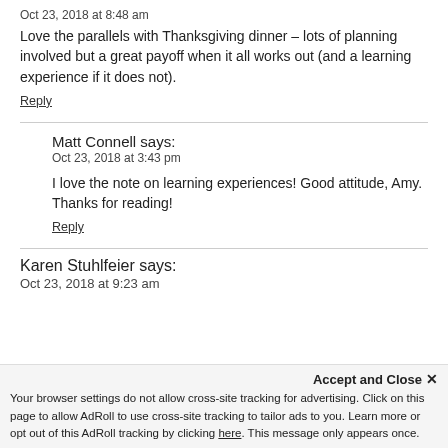Oct 23, 2018 at 8:48 am
Love the parallels with Thanksgiving dinner – lots of planning involved but a great payoff when it all works out (and a learning experience if it does not).
Reply
Matt Connell says:
Oct 23, 2018 at 3:43 pm
I love the note on learning experiences! Good attitude, Amy. Thanks for reading!
Reply
Karen Stuhlfeier says:
Oct 23, 2018 at 9:23 am
Accept and Close ✕
Your browser settings do not allow cross-site tracking for advertising. Click on this page to allow AdRoll to use cross-site tracking to tailor ads to you. Learn more or opt out of this AdRoll tracking by clicking here. This message only appears once.